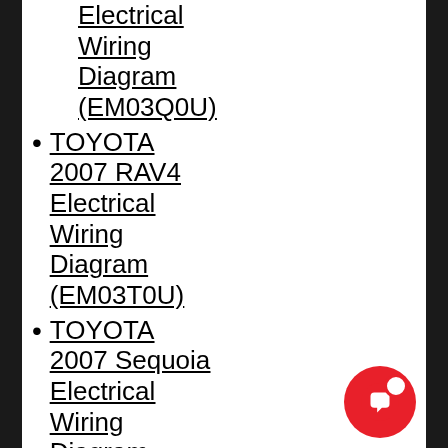Electrical Wiring Diagram (EM03Q0U)
TOYOTA 2007 RAV4 Electrical Wiring Diagram (EM03T0U)
TOYOTA 2007 Sequoia Electrical Wiring Diagram (EM03P0U)
TOYOTA